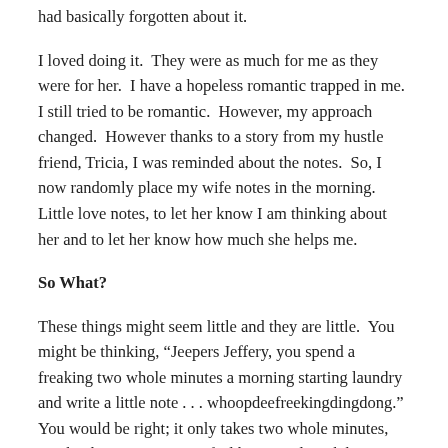had basically forgotten about it.
I loved doing it.  They were as much for me as they were for her.  I have a hopeless romantic trapped in me.  I still tried to be romantic.  However, my approach changed.  However thanks to a story from my hustle friend, Tricia, I was reminded about the notes.  So, I now randomly place my wife notes in the morning.  Little love notes, to let her know I am thinking about her and to let her know how much she helps me.
So What?
These things might seem little and they are little.  You might be thinking, “Jeepers Jeffery, you spend a freaking two whole minutes a morning starting laundry and write a little note . . . whoopdeefreekingdingdong.”  You would be right; it only takes two whole minutes, maybe three.  However, I feel better and work better.  She feels better and works better and only for the cost of two minutes.  Once it a blue moon you might be